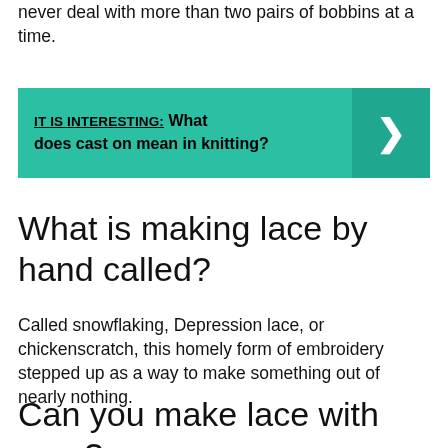never deal with more than two pairs of bobbins at a time.
[Figure (other): Teal callout box with label 'IT IS INTERESTING:' and text 'What does cast on mean in knitting?' with a right arrow button]
What is making lace by hand called?
Called snowflaking, Depression lace, or chickenscratch, this homely form of embroidery stepped up as a way to make something out of nearly nothing.
Can you make lace with yarn?